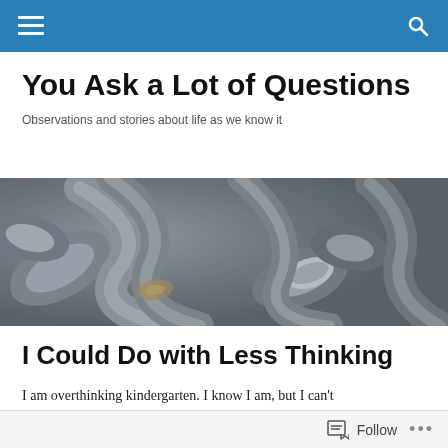Navigation bar with hamburger menu and search icon
You Ask a Lot of Questions
Observations and stories about life as we know it
[Figure (photo): Close-up photo of intertwined metal chains or sculptural metallic forms, silver-grey tones]
I Could Do with Less Thinking
I am overthinking kindergarten. I know I am, but I can't
Follow  ...